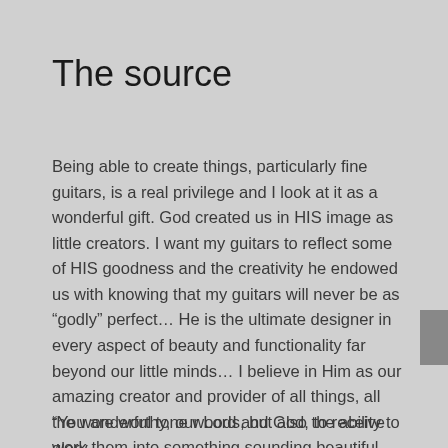The source
Being able to create things, particularly fine guitars, is a real privilege and I look at it as a wonderful gift. God created us in HIS image as little creators. I want my guitars to reflect some of HIS goodness and the creativity he endowed us with knowing that my guitars will never be as “godly” perfect… He is the ultimate designer in every aspect of beauty and functionality far beyond our little minds… I believe in Him as our amazing creator and provider of all things, all the wonderful tone woods, but also the ability to work them into something sounding beautiful
“You are worthy, our Lord and God, to receive glory